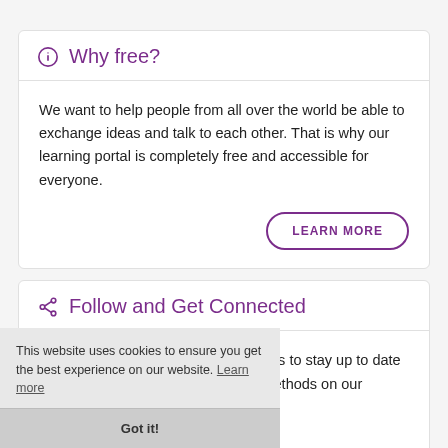Why free?
We want to help people from all over the world be able to exchange ideas and talk to each other. That is why our learning portal is completely free and accessible for everyone.
Follow and Get Connected
Here you will find all the different ways to stay up to date with the newest units and learning methods on our website. You will check out our m, or Facebook?
This website uses cookies to ensure you get the best experience on our website. Learn more
Got it!